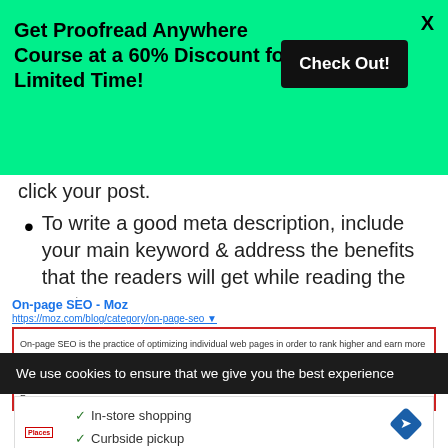[Figure (infographic): Green promotional banner: 'Get Proofread Anywhere Course at a 60% Discount for a Limited Time!' with a black 'Check Out!' button and X close icon]
click your post.
To write a good meta description, include your main keyword & address the benefits that the readers will get while reading the post.
[Figure (screenshot): Google search result screenshot for 'On-page SEO - Moz' at https://moz.com/blog/category/on-page-seo with a red border highlighting the meta description snippet about on-page SEO practice.]
We use cookies to ensure that we give you the best experience
[Figure (screenshot): Ad showing checkmarks for In-store shopping, Curbside pickup, and Delivery with a navigation diamond icon and ad controls.]